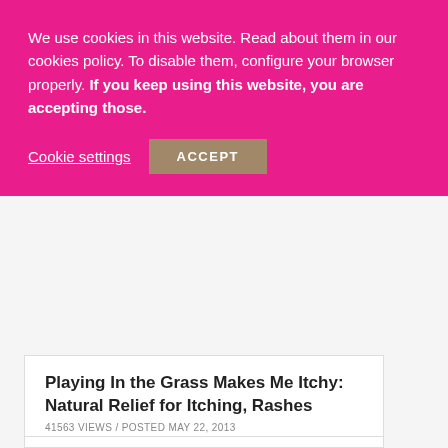We use cookies in this website. Read about them in our cookies policy. To disable them, configure your browser properly. If you keep using this website, you are accepting those.
Cookie settings
ACCEPT
Playing In the Grass Makes Me Itchy: Natural Relief for Itching, Rashes
41563 VIEWS / POSTED MAY 22, 2013
Plantar Warts
36713 VIEWS / POSTED AUGUST 30, 2007
Oat-based Aussie Bites Are Treats for the Gluten-free Soul
25053 VIEWS / POSTED DECEMBER 29, 2013